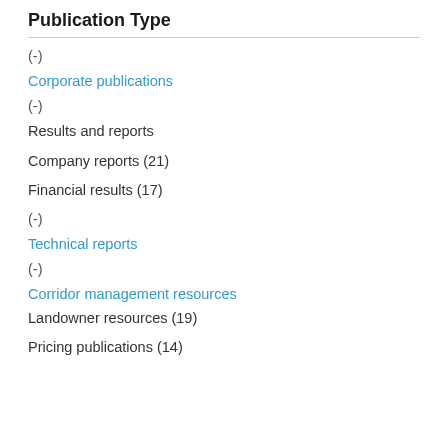Publication Type
(-)
Corporate publications
(-)
Results and reports
Company reports (21)
Financial results (17)
(-)
Technical reports
(-)
Corridor management resources
Landowner resources (19)
Pricing publications (14)